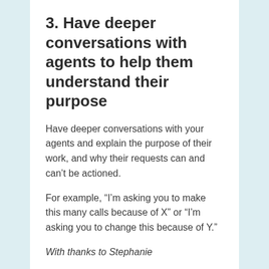3. Have deeper conversations with agents to help them understand their purpose
Have deeper conversations with your agents and explain the purpose of their work, and why their requests can and can't be actioned.
For example, “I’m asking you to make this many calls because of X” or “I’m asking you to change this because of Y.”
With thanks to Stephanie
4. Give your agents real